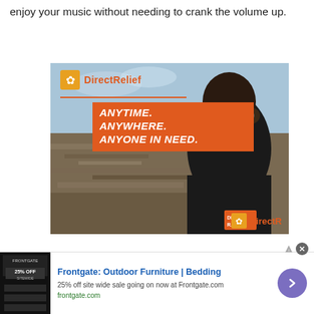enjoy your music without needing to crank the volume up.
[Figure (photo): Direct Relief advertisement showing a person in a black Direct Relief jacket viewed from behind, looking over a disaster-affected area. Orange logo and text 'ANYTIME. ANYWHERE. ANYONE IN NEED.' overlaid on image.]
[Figure (infographic): Frontgate advertisement banner: '25% OFF SITEWIDE' thumbnail, headline 'Frontgate: Outdoor Furniture | Bedding', description '25% off site wide sale going on now at Frontgate.com', URL 'frontgate.com', with purple arrow button and ad-choices icon.]